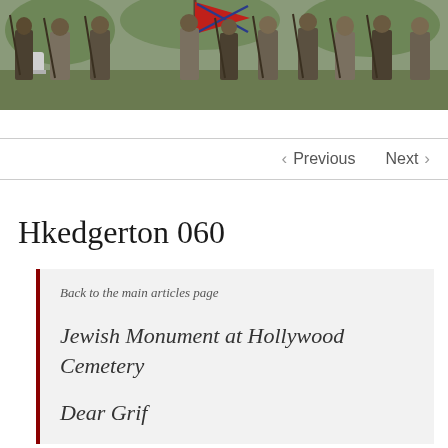[Figure (photo): Black and white/color photo strip showing a group of people (possibly Civil War reenactors) standing in a line outdoors with rifles and a red flag, near grave markers]
< Previous   Next >
Hkedgerton 060
Back to the main articles page
Jewish Monument at Hollywood Cemetery
Dear Grif